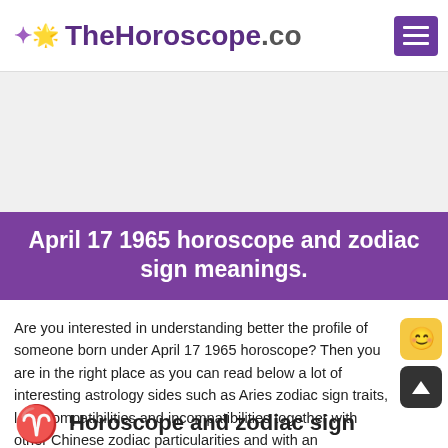TheHoroscope.co
April 17 1965 horoscope and zodiac sign meanings.
Are you interested in understanding better the profile of someone born under April 17 1965 horoscope? Then you are in the right place as you can read below a lot of interesting astrology sides such as Aries zodiac sign traits, love compatibilities and incompatibilities together with other Chinese zodiac particularities and with an entertaining personality descriptors assessment and lucky features chart in life.
Horoscope and zodiac sign